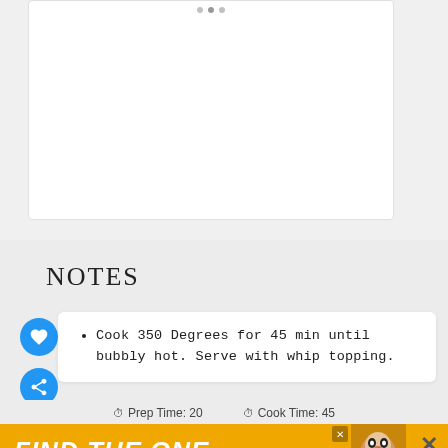[Figure (other): White card area with image carousel dots indicator at top]
NOTES
Cook 350 Degrees for 45 min until bubbly hot. Serve with whip topping.
Prep Time: 20   Cook Time: 45
[Figure (photo): Advertisement banner reading FIND THE ONE with dog photo]